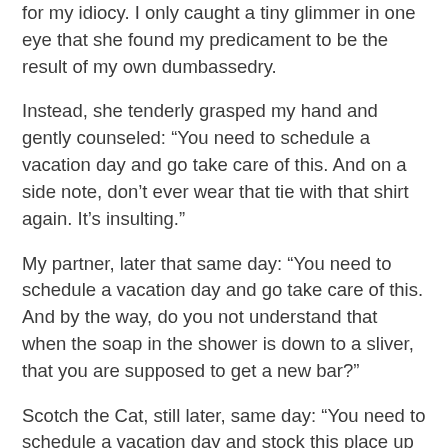for my idiocy. I only caught a tiny glimmer in one eye that she found my predicament to be the result of my own dumbassedry.
Instead, she tenderly grasped my hand and gently counseled: “You need to schedule a vacation day and go take care of this. And on a side note, don’t ever wear that tie with that shirt again. It’s insulting.”
My partner, later that same day: “You need to schedule a vacation day and go take care of this. And by the way, do you not understand that when the soap in the shower is down to a sliver, that you are supposed to get a new bar?”
Scotch the Cat, still later, same day: “You need to schedule a vacation day and stock this place up with treats. I’m tired of the same flavor.”
Me: I can’t stand anybody right now.
But I finally gave in, and yesterday afternoon I submitted a request to take today off. That way I could spend the whole